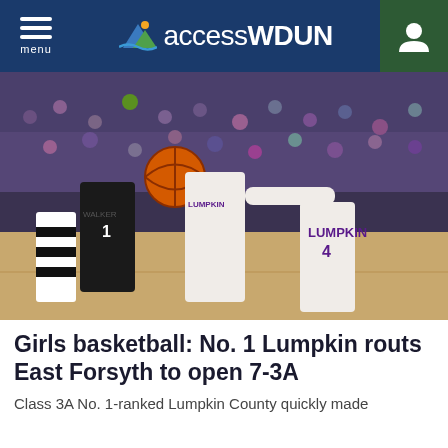accessWDUN — menu navigation header
[Figure (photo): Girls basketball game photo showing Lumpkin County players in white uniforms competing against a player in black uniform for a basketball, with a crowd in the background.]
Girls basketball: No. 1 Lumpkin routs East Forsyth to open 7-3A
Class 3A No. 1-ranked Lumpkin County quickly made